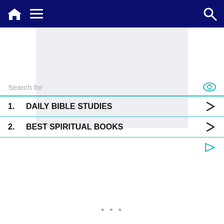Navigation bar with home icon, menu icon, and search icon
[Figure (other): Gray placeholder advertisement rectangle]
Search for
1. DAILY BIBLE STUDIES
2. BEST SPIRITUAL BOOKS